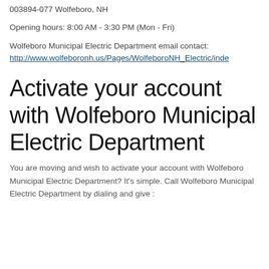003894-077 Wolfeboro, NH
Opening hours: 8:00 AM - 3:30 PM (Mon - Fri)
Wolfeboro Municipal Electric Department email contact: http://www.wolfeboronh.us/Pages/WolfeboroNH_Electric/inde
Activate your account with Wolfeboro Municipal Electric Department
You are moving and wish to activate your account with Wolfeboro Municipal Electric Department? It's simple. Call Wolfeboro Municipal Electric Department by dialing and give :